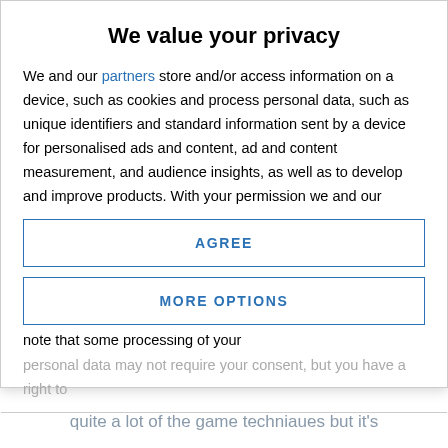"brains" in the football context before so I'll have to
We value your privacy
We and our partners store and/or access information on a device, such as cookies and process personal data, such as unique identifiers and standard information sent by a device for personalised ads and content, ad and content measurement, and audience insights, as well as to develop and improve products. With your permission we and our partners may use precise geolocation data and identification through device scanning. You may click to consent to our and our partners' processing as described above. Alternatively you may access more detailed information and change your preferences before consenting or to refuse consenting. Please note that some processing of your
personal data may not require your consent, but you have a right to
AGREE
MORE OPTIONS
quite a lot of the game techniaues but it's